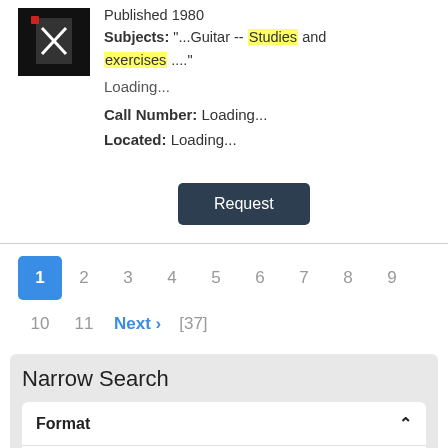[Figure (photo): Book cover thumbnail, dark background with guitar icon]
Published 1980
Subjects: "...Guitar -- Studies and exercises ...."
Loading...
Call Number: Loading...
Located: Loading...
Request
1 2 3 4 5 6 7 8 9 10 11 Next > [37]
Narrow Search
Format
Book 691
Musical Score 652